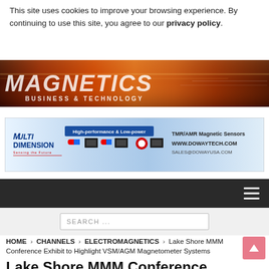This site uses cookies to improve your browsing experience. By continuing to use this site, you agree to our privacy policy.
[Figure (illustration): Website header banner with stylized 'MAGNETICS BUSINESS & TECHNOLOGY' text on an orange/red gradient background]
[Figure (illustration): Advertisement banner for Multi Dimension - High-performance & Low-power TMR/AMR Magnetic Sensors. WWW.DOWAYTECH.COM SALES@DOWAYUSA.COM]
[Figure (other): Dark navigation bar with hamburger menu icon]
SEARCH ...
HOME > CHANNELS > ELECTROMAGNETICS > Lake Shore MMM Conference Exhibit to Highlight VSM/AGM Magnetometer Systems
Lake Shore MMM Conference